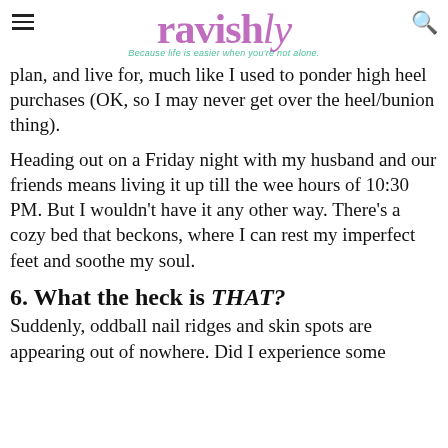ravishly — Because life is easier when you're not alone.
plan, and live for, much like I used to ponder high heel purchases (OK, so I may never get over the heel/bunion thing).
Heading out on a Friday night with my husband and our friends means living it up till the wee hours of 10:30 PM. But I wouldn't have it any other way. There's a cozy bed that beckons, where I can rest my imperfect feet and soothe my soul.
6. What the heck is THAT?
Suddenly, oddball nail ridges and skin spots are appearing out of nowhere. Did I experience some